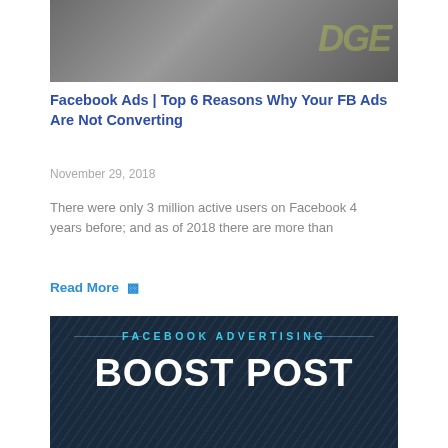[Figure (photo): Thumbnail image of a man holding a pen, with a watermark text overlay in the top right corner]
Facebook Ads | Top 6 Reasons Why Your FB Ads Are Not Converting
November 29, 2018
There were only 3 million active users on Facebook 4 years before; and as of 2018 there are more than
Read More ▹
[Figure (infographic): Dark blue banner with diagonal line texture pattern. Text reads: FACEBOOK ADVERTISING in cyan letters, then BOOST POST in large white bold letters.]